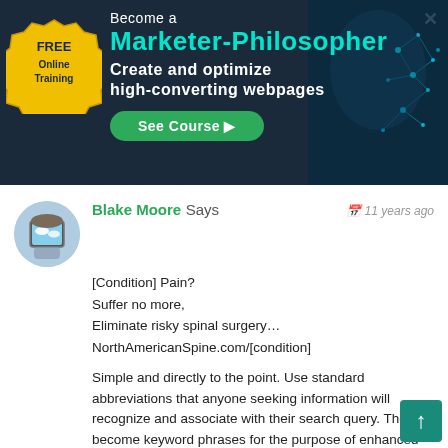[Figure (illustration): Banner advertisement: FREE Online Training - Become a Marketer-Philosopher, Create and optimize high-converting webpages, See Course button. Dark navy background with teal digital brain graphic on right, gold seal on left.]
Blake Moore Says
11 years ago
[Condition] Pain?
Suffer no more,
Eliminate risky spinal surgery…
NorthAmericanSpine.com/[condition]

Simple and directly to the point. Use standard abbreviations that anyone seeking information will recognize and associate with their search query. Those become keyword phrases for the purpose of enhanced seo. If you do not understand the abbreviations, you are likely not a viable candidate for the noted procedure, thus eliminating irrelevant and "wasted $$" via click thrus…